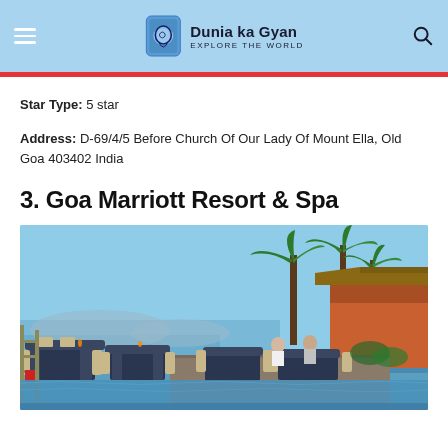Dunia ka Gyan — Explore The World
Star Type: 5 star
Address: D-69/4/5 Before Church Of Our Lady Of Mount Ella, Old Goa 403402 India
3. Goa Marriott Resort & Spa
[Figure (photo): Outdoor dining area by the pool at Goa Marriott Resort & Spa, with palm trees, ocean view, and terracotta colored resort buildings in the background.]